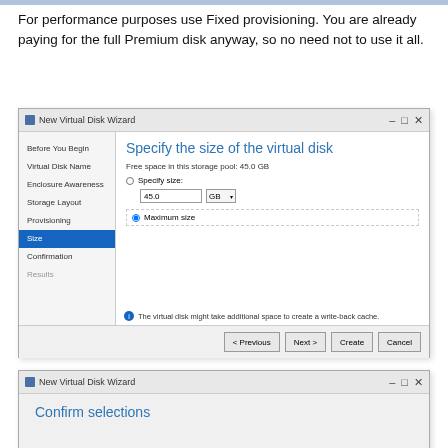For performance purposes use Fixed provisioning. You are already paying for the full Premium disk anyway, so no need not to use it all.
[Figure (screenshot): Windows 'New Virtual Disk Wizard' dialog showing 'Specify the size of the virtual disk' screen. Left sidebar lists: Before You Begin, Virtual Disk Name, Enclosure Awareness, Storage Layout, Provisioning, Size (highlighted/active), Confirmation, Results. Right panel shows: Free space in this storage pool: 45.0 GB, radio button 'Specify size:' with input field '45.0' and 'GB' dropdown, horizontal dashed line, selected radio button 'Maximum size' in dashed border. Info message at bottom: 'The virtual disk might take additional space to create a write-back cache.' Navigation buttons: < Previous, Next >, Create, Cancel.]
[Figure (screenshot): Windows 'New Virtual Disk Wizard' dialog showing 'Confirm selections' screen, partially visible at bottom of page.]